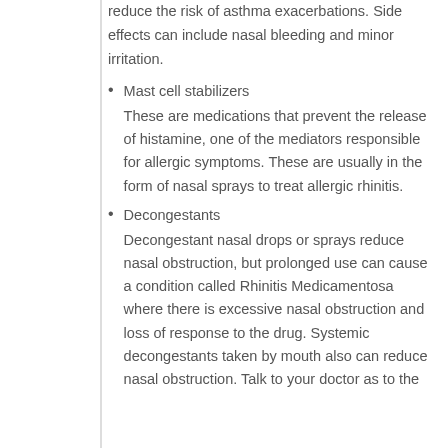reduce the risk of asthma exacerbations. Side effects can include nasal bleeding and minor irritation.
Mast cell stabilizers
These are medications that prevent the release of histamine, one of the mediators responsible for allergic symptoms. These are usually in the form of nasal sprays to treat allergic rhinitis.
Decongestants
Decongestant nasal drops or sprays reduce nasal obstruction, but prolonged use can cause a condition called Rhinitis Medicamentosa where there is excessive nasal obstruction and loss of response to the drug. Systemic decongestants taken by mouth also can reduce nasal obstruction. Talk to your doctor as to the